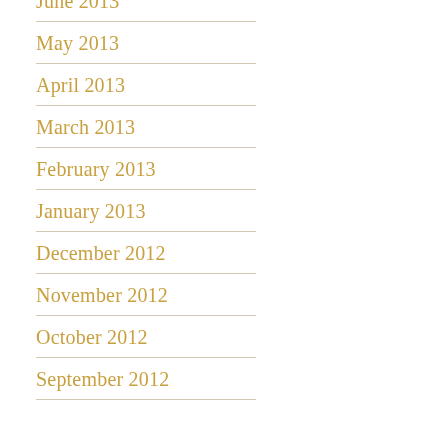June 2013
May 2013
April 2013
March 2013
February 2013
January 2013
December 2012
November 2012
October 2012
September 2012